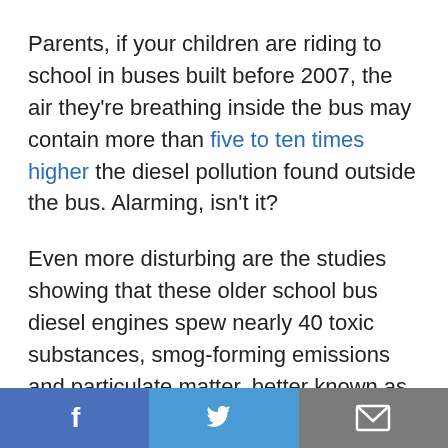Parents, if your children are riding to school in buses built before 2007, the air they're breathing inside the bus may contain more than five to ten times higher the diesel pollution found outside the bus. Alarming, isn't it?
Even more disturbing are the studies showing that these older school bus diesel engines spew nearly 40 toxic substances, smog-forming emissions and particulate matter, better known as soot.  Your children, who breathe in more air per pound of body weight than adults, are at an even higher health risk because their lungs are
[Figure (other): Social sharing bar with Facebook, Twitter, and email buttons at the bottom of the page]